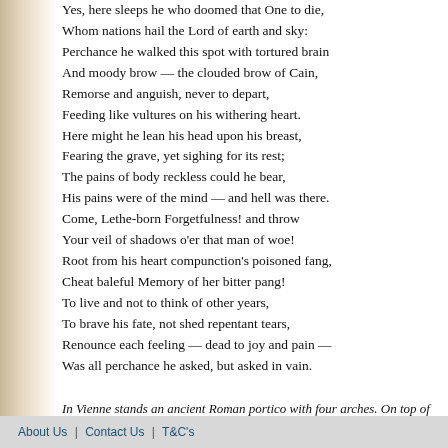Yes, here sleeps he who doomed that One to die,
Whom nations hail the Lord of earth and sky:
Perchance he walked this spot with tortured brain
And moody brow — the clouded brow of Cain,
Remorse and anguish, never to depart,
Feeding like vultures on his withering heart.
Here might he lean his head upon his breast,
Fearing the grave, yet sighing for its rest;
The pains of body reckless could he bear,
His pains were of the mind — and hell was there.
Come, Lethe-born Forgetfulness! and throw
Your veil of shadows o'er that man of woe!
Root from his heart compunction's poisoned fang,
Cheat baleful Memory of her bitter pang!
To live and not to think of other years,
To brave his fate, not shed repentant tears,
Renounce each feeling — dead to joy and pain —
Was all perchance he asked, but asked in vain.
In Vienne stands an ancient Roman portico with four arches. On top of it is a pyramid-like structure. This has long been rumoured to be the tomb of Pontius Pilate.
About Us | Contact Us | T&C's